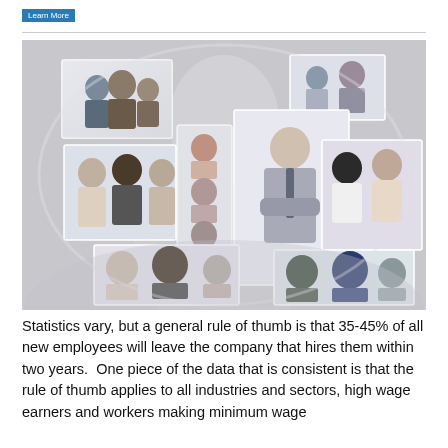[Figure (photo): Composite image of groups of business professionals arranged in a collage/globe-like spiral effect, showing various workplace scenarios and diverse employees in professional attire.]
Statistics vary, but a general rule of thumb is that 35-45% of all new employees will leave the company that hires them within two years.  One piece of the data that is consistent is that the rule of thumb applies to all industries and sectors, high wage earners and workers making minimum wage